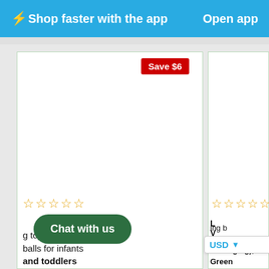⚡Shop faster with the app  Open app
[Figure (screenshot): Two product listing cards on a shopping website. Left card shows a toy product with 5 empty star ratings and partial text: '...g toy with ...balls for infants and toddlers'. Right card shows Save $6 badge, 5 empty star ratings, and partial text: 'L...ing b... V...ustr... Packaging), Green' with a USD currency dropdown. A green 'Chat with us' button overlays the left card area.]